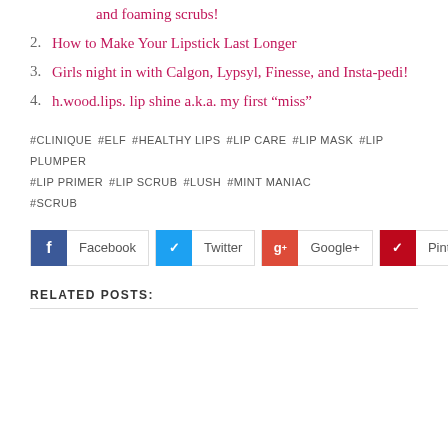and foaming scrubs!
How to Make Your Lipstick Last Longer
Girls night in with Calgon, Lypsyl, Finesse, and Insta-pedi!
h.wood.lips. lip shine a.k.a. my first “miss”
#CLINIQUE  #ELF  #HEALTHY LIPS  #LIP CARE  #LIP MASK  #LIP PLUMPER  #LIP PRIMER  #LIP SCRUB  #LUSH  #MINT MANIAC  #SCRUB
Facebook  Twitter  Google+  Pinterest
RELATED POSTS: